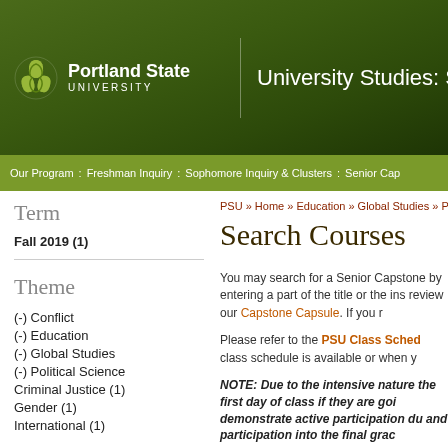Portland State University | University Studies: Senior Cap
Our Program | Freshman Inquiry | Sophomore Inquiry & Clusters | Senior Cap
PSU » Home » Education » Global Studies » Polit
Search Courses
Term
Fall 2019 (1)
Theme
(-) Conflict
(-) Education
(-) Global Studies
(-) Political Science
Criminal Justice (1)
Gender (1)
International (1)
You may search for a Senior Capstone by entering a part of the title or the ins review our Capstone Capsule. If you r
Please refer to the PSU Class Sched class schedule is available or when y
NOTE: Due to the intensive nature the first day of class if they are goi demonstrate active participation du and participation into the final grac
NOTE: "Sustainability" tagged cou seek approval from Joseph Maser,